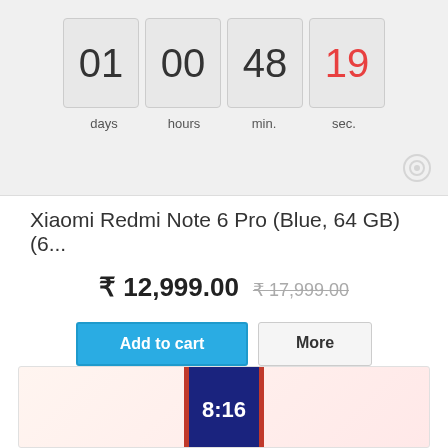[Figure (screenshot): Countdown timer showing 01 days, 00 hours, 48 min., 19 sec.]
Xiaomi Redmi Note 6 Pro (Blue, 64 GB) (6...
₹ 12,999.00  ₹ 17,999.00
Add to cart
More
In Stock
+ Add to Compare
[Figure (photo): Partial view of a smartphone (Xiaomi Redmi Note 6 Pro in red/copper) showing the lock screen with time 8:16]